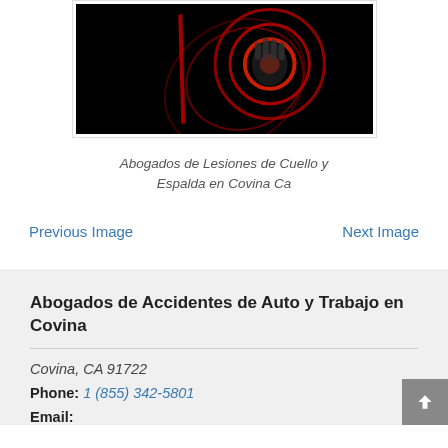[Figure (photo): Dark image showing a hand/back with red glowing spiral circles suggesting pain, used to illustrate neck and back injuries]
Abogados de Lesiones de Cuello y Espalda en Covina Ca
Previous Image
Next Image
Abogados de Accidentes de Auto y Trabajo en Covina
Covina, CA 91722
Phone: 1 (855) 342-5801
Email: